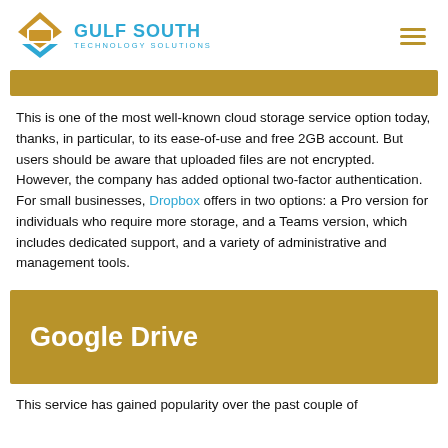Gulf South Technology Solutions
This is one of the most well-known cloud storage service option today, thanks, in particular, to its ease-of-use and free 2GB account. But users should be aware that uploaded files are not encrypted. However, the company has added optional two-factor authentication. For small businesses, Dropbox offers in two options: a Pro version for individuals who require more storage, and a Teams version, which includes dedicated support, and a variety of administrative and management tools.
Google Drive
This service has gained popularity over the past couple of